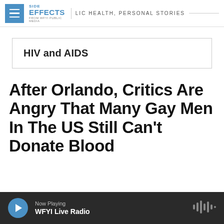SIDE EFFECTS — PUBLIC HEALTH, PERSONAL STORIES — FROM WFYI PUBLIC MEDIA
HIV and AIDS
After Orlando, Critics Are Angry That Many Gay Men In The US Still Can't Donate Blood
Now Playing WFYI Live Radio